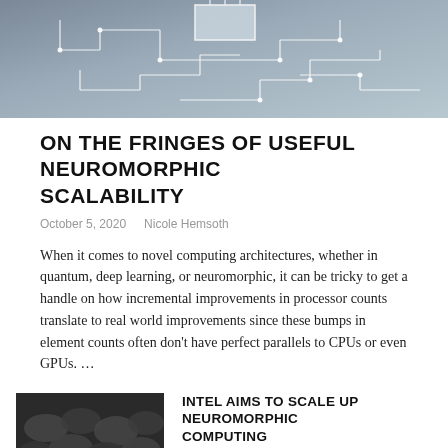[Figure (photo): Circuit board with white trace lines on dark gray background, top hero image]
ON THE FRINGES OF USEFUL NEUROMORPHIC SCALABILITY
October 5, 2020    Nicole Hemsoth
When it comes to novel computing architectures, whether in quantum, deep learning, or neuromorphic, it can be tricky to get a handle on how incremental improvements in processor counts translate to real world improvements since these bumps in element counts often don't have perfect parallels to CPUs or even GPUs. …
[Figure (photo): Dark grayscale photo of dense organic or mechanical structures]
INTEL AIMS TO SCALE UP NEUROMORPHIC COMPUTING
July 16, 2019    Michael Feldman